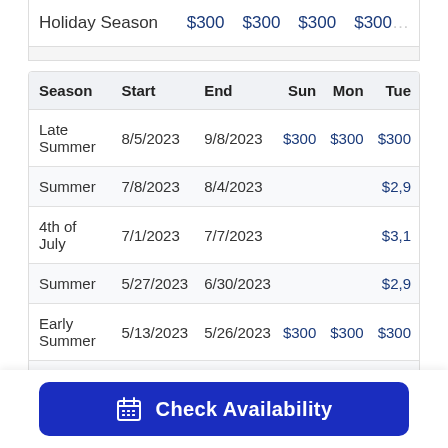| Season | Start | End | Sun | Mon | Tue |
| --- | --- | --- | --- | --- | --- |
| Holiday Season |  |  | $300 | $300 | $300 |
| Late Summer | 8/5/2023 | 9/8/2023 | $300 | $300 | $300 |
| Summer | 7/8/2023 | 8/4/2023 |  |  | $2,9… |
| 4th of July | 7/1/2023 | 7/7/2023 |  |  | $3,1… |
| Summer | 5/27/2023 | 6/30/2023 |  |  | $2,9… |
| Early Summer | 5/13/2023 | 5/26/2023 | $300 | $300 | $300 |
| Spring | 4/15/2023 | 5/12/2023 | $250 | $250 | $250 |
| Spring Break | 3/1/2023 | 4/14/2023 | $300 | $300 | $300 |
Check Availability